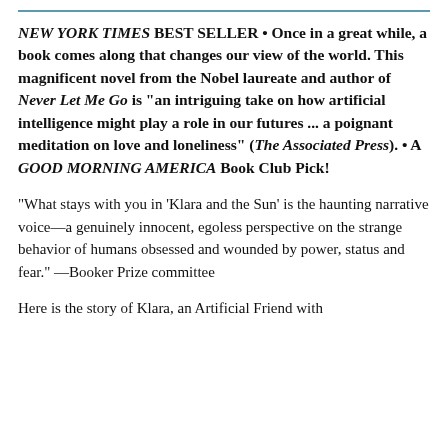NEW YORK TIMES BEST SELLER • Once in a great while, a book comes along that changes our view of the world. This magnificent novel from the Nobel laureate and author of Never Let Me Go is "an intriguing take on how artificial intelligence might play a role in our futures ... a poignant meditation on love and loneliness" (The Associated Press). • A GOOD MORNING AMERICA Book Club Pick!
“What stays with you in ‘Klara and the Sun’ is the haunting narrative voice—a genuinely innocent, egoless perspective on the strange behavior of humans obsessed and wounded by power, status and fear.” —Booker Prize committee
Here is the story of Klara, an Artificial Friend with